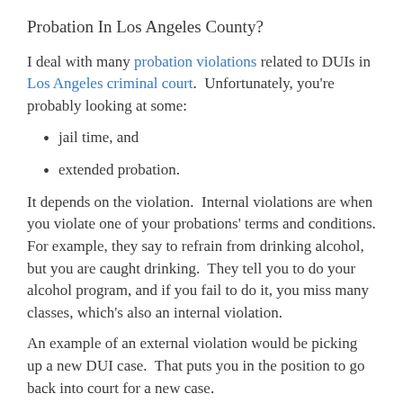Probation In Los Angeles County?
I deal with many probation violations related to DUIs in Los Angeles criminal court.  Unfortunately, you're probably looking at some:
jail time, and
extended probation.
It depends on the violation.  Internal violations are when you violate one of your probations' terms and conditions. For example, they say to refrain from drinking alcohol, but you are caught drinking.  They tell you to do your alcohol program, and if you fail to do it, you miss many classes, which's also an internal violation.
An example of an external violation would be picking up a new DUI case.  That puts you in the position to go back into court for a new case.